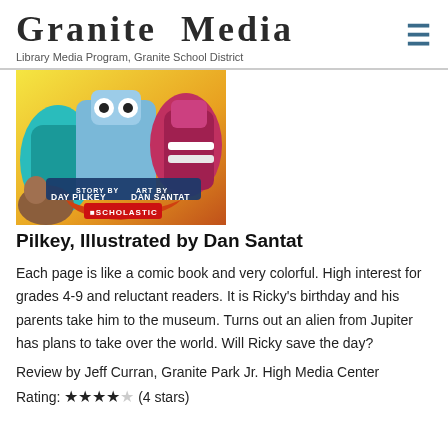Granite Media — Library Media Program, Granite School District
[Figure (photo): Book cover of a Scholastic comic-style book by Day Pilkey, illustrated by Dan Santat, featuring colorful animated robot/superhero characters on a bright background.]
Pilkey, Illustrated by Dan Santat
Each page is like a comic book and very colorful. High interest for grades 4-9 and reluctant readers. It is Ricky's birthday and his parents take him to the museum. Turns out an alien from Jupiter has plans to take over the world. Will Ricky save the day?
Review by Jeff Curran, Granite Park Jr. High Media Center
Rating: ★★★★☆ (4 stars)